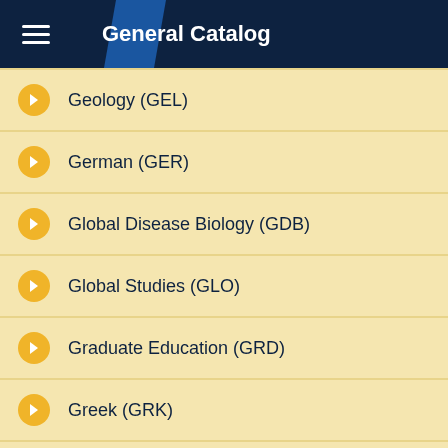General Catalog
Geology (GEL)
German (GER)
Global Disease Biology (GDB)
Global Studies (GLO)
Graduate Education (GRD)
Greek (GRK)
Health Informatics (MHI)
Hebrew (HEB)